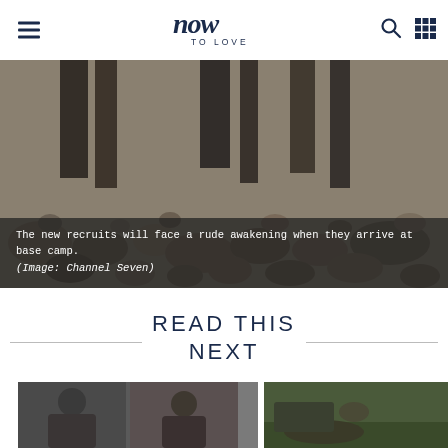now TO LOVE
[Figure (photo): Rocky outdoor terrain with large stones and dark textured columns, base camp setting]
The new recruits will face a rude awakening when they arrive at base camp.
(Image: Channel Seven)
READ THIS NEXT
[Figure (photo): Two people in outdoor/military gear, one wearing a black beanie]
[Figure (photo): Person crawling or moving through muddy outdoor terrain]